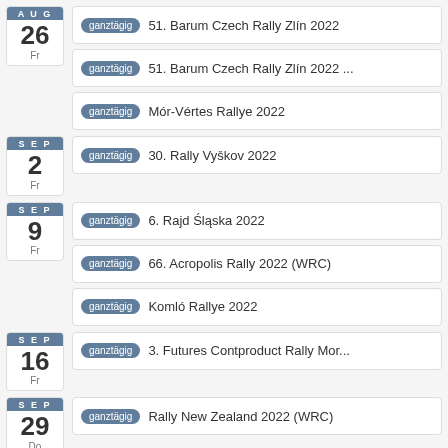AUG 26 Fr - ganztägig 51. Barum Czech Rally Zlín 2022
AUG 26 Fr - ganztägig 51. Barum Czech Rally Zlín 2022 ...
AUG 26 Fr - ganztägig Mór-Vértes Rallye 2022
SEP 2 Fr - ganztägig 30. Rally Vyškov 2022
SEP 9 Fr - ganztägig 6. Rajd Śląska 2022
SEP 9 Fr - ganztägig 66. Acropolis Rally 2022 (WRC)
SEP 9 Fr - ganztägig Komló Rallye 2022
SEP 16 Fr - ganztägig 3. Futures Contproduct Rally Mor...
SEP 29 Do - ganztägig Rally New Zealand 2022 (WRC)
Kalender anzeigen →